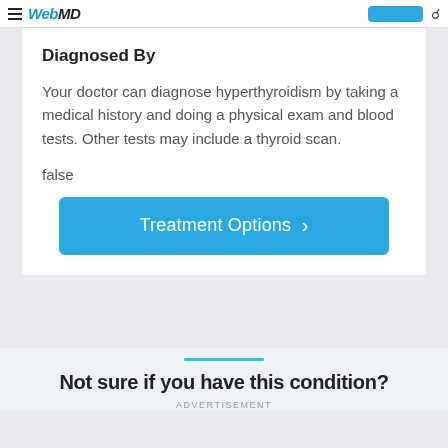WebMD
Diagnosed By
Your doctor can diagnose hyperthyroidism by taking a medical history and doing a physical exam and blood tests. Other tests may include a thyroid scan.
false
[Figure (other): Blue button labeled 'Treatment Options' with a right-pointing chevron arrow]
Not sure if you have this condition?
ADVERTISEMENT